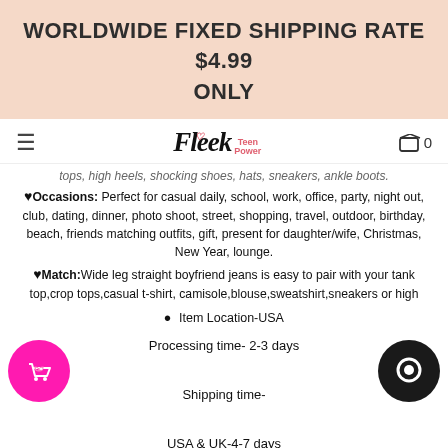WORLDWIDE FIXED SHIPPING RATE $4.99 ONLY
Fleek by Teen Power — navigation bar with cart
tops, high heels, shocking shoes, hats, sneakers, ankle boots.
♥Occasions: Perfect for casual daily, school, work, office, party, night out, club, dating, dinner, photo shoot, street, shopping, travel, outdoor, birthday, beach, friends matching outfits, gift, present for daughter/wife, Christmas, New Year, lounge.
♥Match:Wide leg straight boyfriend jeans is easy to pair with your tank top,crop tops,casual t-shirt, camisole,blouse,sweatshirt,sneakers or high
Item Location-USA
Processing time- 2-3 days
Shipping time-
USA & UK-4-7 days